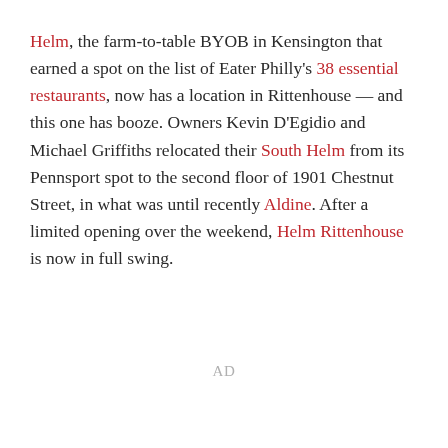Helm, the farm-to-table BYOB in Kensington that earned a spot on the list of Eater Philly's 38 essential restaurants, now has a location in Rittenhouse — and this one has booze. Owners Kevin D'Egidio and Michael Griffiths relocated their South Helm from its Pennsport spot to the second floor of 1901 Chestnut Street, in what was until recently Aldine. After a limited opening over the weekend, Helm Rittenhouse is now in full swing.
AD